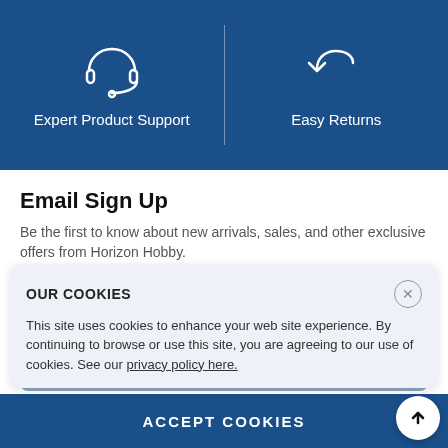[Figure (infographic): Blue banner with two columns: left shows headset icon with 'Expert Product Support', right shows return arrow icon with 'Easy Returns', separated by a vertical divider line.]
Email Sign Up
Be the first to know about new arrivals, sales, and other exclusive offers from Horizon Hobby.
Email Address
SIGN UP
OUR COOKIES
This site uses cookies to enhance your web site experience. By continuing to browse or use this site, you are agreeing to our use of cookies. See our privacy policy here.
ACCEPT COOKIES